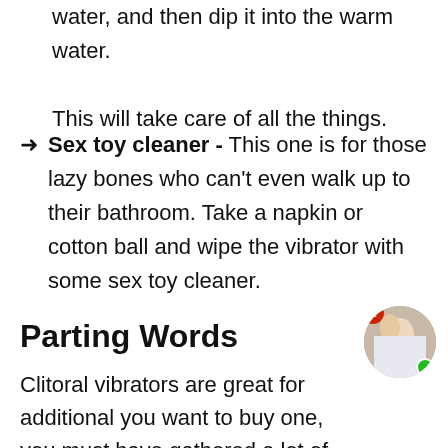water, and then dip it into the warm water. This will take care of all the things.
Sex toy cleaner - This one is for those lazy bones who can't even walk up to their bathroom. Take a napkin or cotton ball and wipe the vibrator with some sex toy cleaner.
Parting Words
Clitoral vibrators are great for additional you want to buy one, you must have gathered a lot of information about different vibrator toys after reading our list of the top ten clitoral